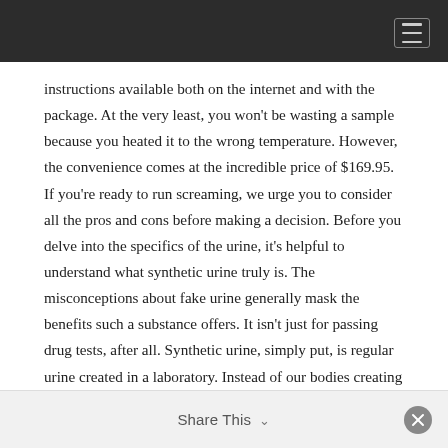instructions available both on the internet and with the package. At the very least, you won't be wasting a sample because you heated it to the wrong temperature. However, the convenience comes at the incredible price of $169.95. If you're ready to run screaming, we urge you to consider all the pros and cons before making a decision. Before you delve into the specifics of the urine, it's helpful to understand what synthetic urine truly is. The misconceptions about fake urine generally mask the benefits such a substance offers. It isn't just for passing drug tests, after all. Synthetic urine, simply put, is regular urine created in a laboratory. Instead of our bodies creating it, all the essential chemical parts of the urine are duplicated to mimic the human urine. Since it
Share This